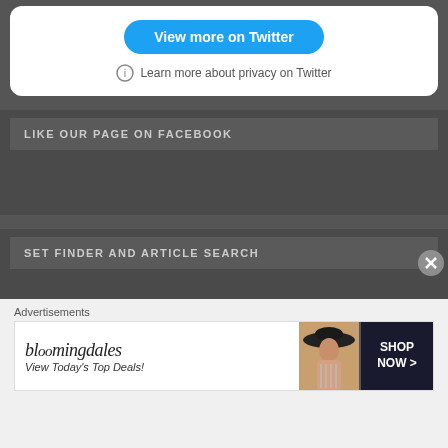View more on Twitter
Learn more about privacy on Twitter
LIKE OUR PAGE ON FACEBOOK
SET FINDER AND ARTICLE SEARCH
Advertisements
[Figure (screenshot): Bloomingdale's advertisement banner: bloomingdales logo with text 'View Today's Top Deals!' and 'SHOP NOW >' button, with model wearing wide-brim hat]